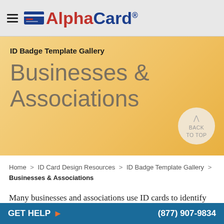AlphaCard®
ID Badge Template Gallery
Businesses & Associations
BACK TO TOP
Home > ID Card Design Resources > ID Badge Template Gallery > Businesses & Associations
Many businesses and associations use ID cards to identify members while out in the field, gain access to
GET HELP  (877) 907-9834